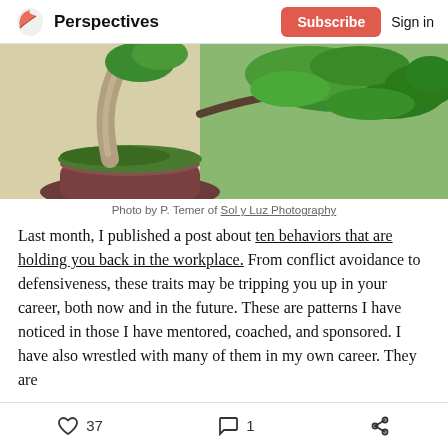Perspectives | Subscribe | Sign in
[Figure (photo): Close-up photo of a bonsai tree with green foliage and twisted trunk, displayed in a dark clay pot with moss ground cover.]
Photo by P. Temer of Sol y Luz Photography
Last month, I published a post about ten behaviors that are holding you back in the workplace. From conflict avoidance to defensiveness, these traits may be tripping you up in your career, both now and in the future. These are patterns I have noticed in those I have mentored, coached, and sponsored. I have also wrestled with many of them in my own career. They are
37 likes | 1 comment | share